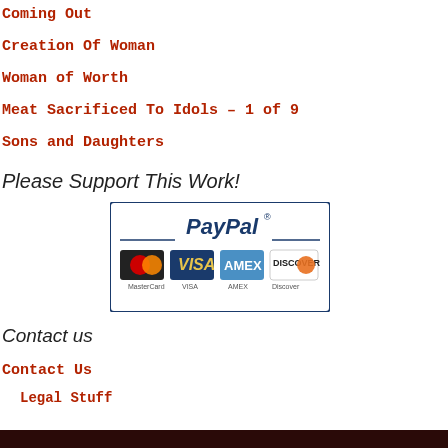Coming Out
Creation Of Woman
Woman of Worth
Meat Sacrificed To Idols – 1 of 9
Sons and Daughters
Please Support This Work!
[Figure (logo): PayPal payment button showing PayPal logo and credit card icons for MasterCard, Visa, AMEX, and Discover]
Contact us
Contact Us
Legal Stuff